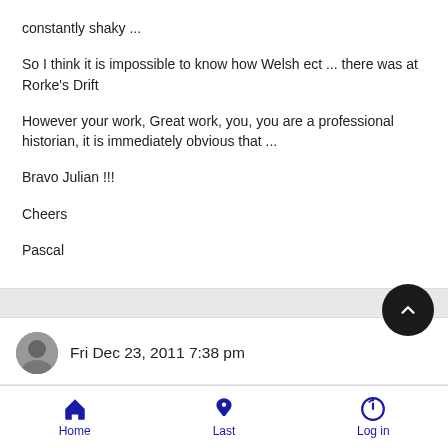constantly shaky ...
So I think it is impossible to know how Welsh ect ... there was at Rorke's Drift
However your work, Great work, you, you are a professional historian, it is immediately obvious that ...
Bravo Julian !!!
Cheers
Pascal
Fri Dec 23, 2011 7:38 pm
Home  Last  Log in